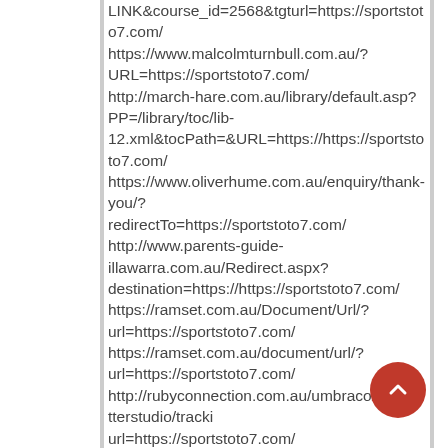LINK&course_id=2568&tgturl=https://sportstoto7.com/ https://www.malcolmturnbull.com.au/?URL=https://sportstoto7.com/ http://march-hare.com.au/library/default.asp?PP=/library/toc/lib-12.xml&tocPath=&URL=https://https://sportstoto7.com/ https://www.oliverhume.com.au/enquiry/thank-you/?redirectTo=https://sportstoto7.com/ http://www.parents-guide-illawarra.com.au/Redirect.aspx?destination=https://https://sportstoto7.com/ https://ramset.com.au/Document/Url/?url=https://sportstoto7.com/ https://ramset.com.au/document/url/?url=https://sportstoto7.com/ http://rubyconnection.com.au/umbraco/newsletterstudio/tracki url=https://sportstoto7.com/ http://southburnett.com.au/movies/movie.php?url=https://sportstoto7.com/ https://www.vicsport.com.au/analytics/outbound?